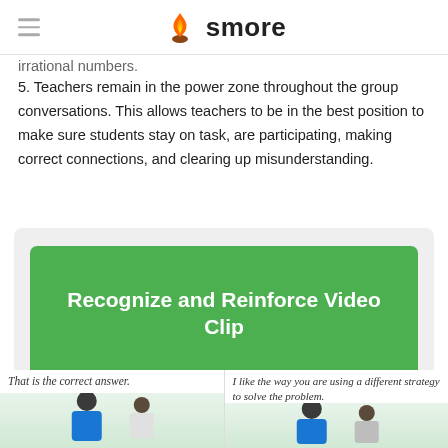smore
irrational numbers.
5. Teachers remain in the power zone throughout the group conversations. This allows teachers to be in the best position to make sure students stay on task, are participating, making correct connections, and clearing up misunderstanding.
[Figure (other): Green button labeled 'Recognize and Reinforce Video Clip' inside a light gray rounded box]
[Figure (photo): Two side-by-side panels showing teacher-student interaction images with speech bubbles. Left: 'That is the correct answer.' Right: 'I like the way you are using a different strategy to solve the problem.']